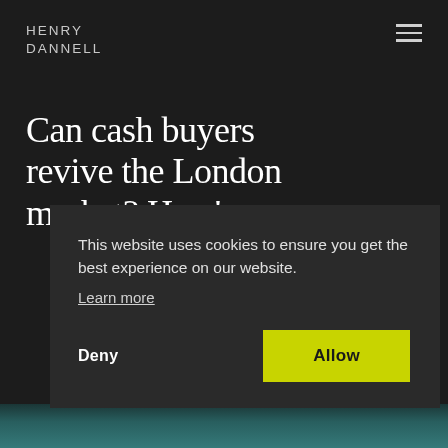HENRY DANNELL
Can cash buyers revive the London market? Here's
This website uses cookies to ensure you get the best experience on our website.
Learn more
Deny
Allow